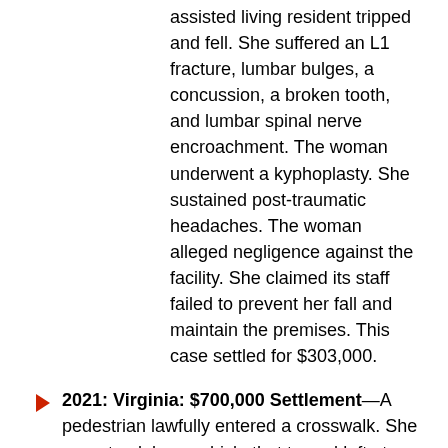assisted living resident tripped and fell. She suffered an L1 fracture, lumbar bulges, a concussion, a broken tooth, and lumbar spinal nerve encroachment. The woman underwent a kyphoplasty. She sustained post-traumatic headaches. The woman alleged negligence against the facility. She claimed its staff failed to prevent her fall and maintain the premises. This case settled for $303,000.
2021: Virginia: $700,000 Settlement—A pedestrian lawfully entered a crosswalk. She was struck by a vehicle that turned left at a yellow arrow. The woman fractured her L1 disc, fibula, left hip, and coccyx. She also suffered a foot wound and a bladder rupture. The woman was hospitalized for a week. She spent an additional week in an in-